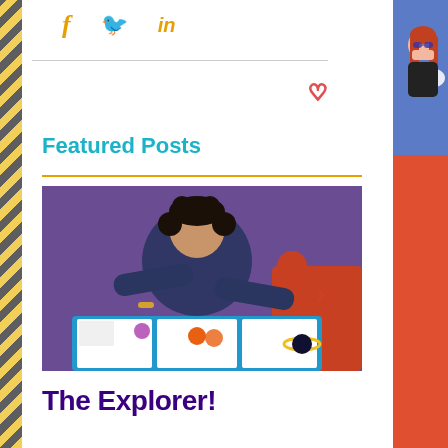[Figure (illustration): Social media share icons: Facebook (f), Twitter (bird), LinkedIn (in) in orange/gold color]
Featured Posts
[Figure (photo): Young child with curly hair lying on a purple foam mat, looking at a colorful educational book with pictures of animals and planets]
The Explorer!
[Figure (illustration): Right side panel with orange/red background and illustrated person with red hair at top right]